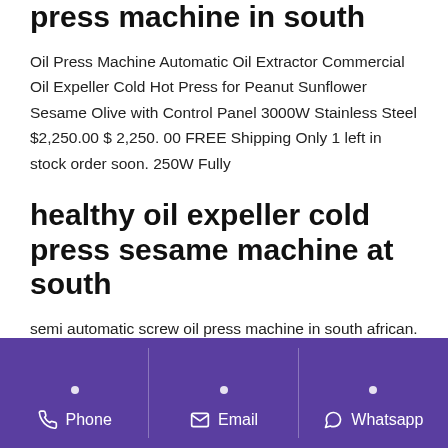hydraulic cold press sesame oil press machine in south
Oil Press Machine Automatic Oil Extractor Commercial Oil Expeller Cold Hot Press for Peanut Sunflower Sesame Olive with Control Panel 3000W Stainless Steel $2,250.00 $ 2,250. 00 FREE Shipping Only 1 left in stock order soon. 250W Fully
healthy oil expeller cold press sesame machine at south
semi automatic screw oil press machine in south african. cold press oil machine Automatic Oil Press Machine Presser
Phone   Email   Whatsapp